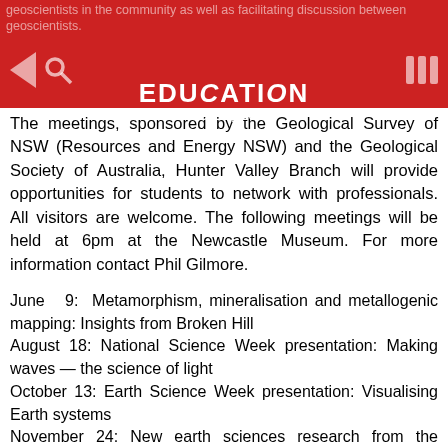geoscientists in the community as well as facilitating discussion between geoscientists.
June 22, 2015
EDUCATION
The meetings, sponsored by the Geological Survey of NSW (Resources and Energy NSW) and the Geological Society of Australia, Hunter Valley Branch will provide opportunities for students to network with professionals. All visitors are welcome. The following meetings will be held at 6pm at the Newcastle Museum. For more information contact Phil Gilmore.
June 9: Metamorphism, mineralisation and metallogenic mapping: Insights from Broken Hill
August 18: National Science Week presentation: Making waves — the science of light
October 13: Earth Science Week presentation: Visualising Earth systems
November 24: New earth sciences research from the University of Newcastle
Cultivate an agri-career